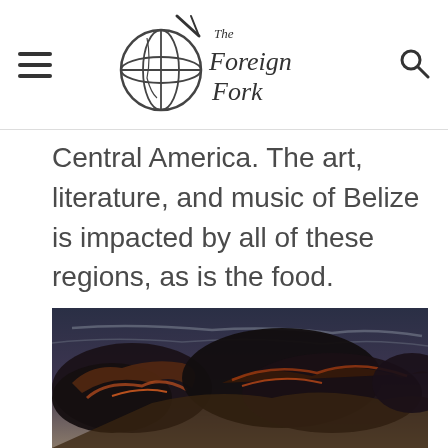The Foreign Fork
Central America. The art, literature, and music of Belize is impacted by all of these regions, as is the food.
[Figure (photo): Dramatic sunset sky with dark storm clouds illuminated by orange and red light from below, against a deep blue-grey sky.]